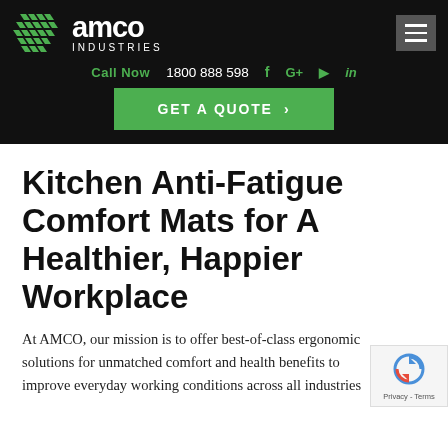[Figure (logo): AMCO Industries logo with green geometric chevron/grid icon and white text 'amco INDUSTRIES' on black background]
Call Now   1800 888 598   f   G+   ▶   in
GET A QUOTE >
Kitchen Anti-Fatigue Comfort Mats for A Healthier, Happier Workplace
At AMCO, our mission is to offer best-of-class ergonomic solutions for unmatched comfort and health benefits to improve everyday working conditions across all industries